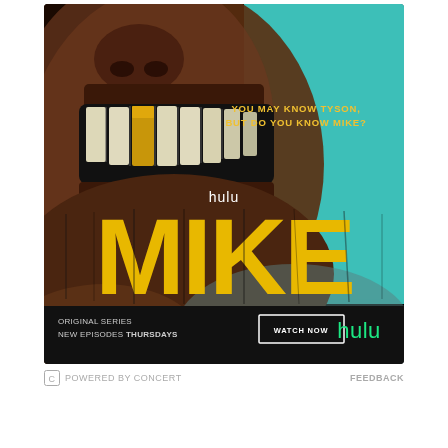[Figure (illustration): Hulu advertisement for the original series 'MIKE' about Mike Tyson. Shows a close-up of a man's face with gold teeth laughing, against a teal background. Yellow text reads 'YOU MAY KNOW TYSON, BUT DO YOU KNOW MIKE?' with 'hulu' above large yellow distressed 'MIKE' lettering. Bottom bar shows 'ORIGINAL SERIES NEW EPISODES THURSDAYS' with a 'WATCH NOW' button and Hulu logo in green.]
POWERED BY CONCERT
FEEDBACK